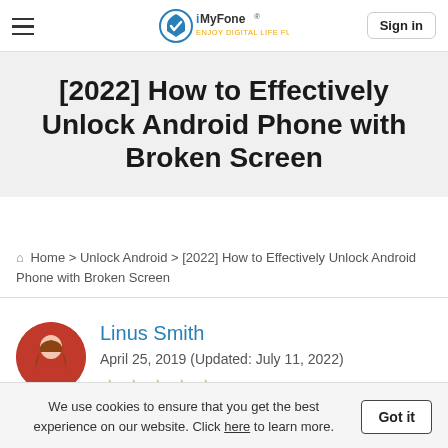iMyFone® Sign in
[2022] How to Effectively Unlock Android Phone with Broken Screen
Home > Unlock Android > [2022] How to Effectively Unlock Android Phone with Broken Screen
Linus Smith
April 25, 2019 (Updated: July 11, 2022)
★★★★★ 3 min read
We use cookies to ensure that you get the best experience on our website. Click here to learn more. Got it